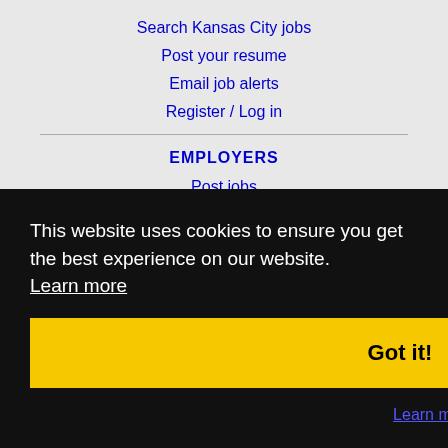Search Kansas City jobs
Post your resume
Email job alerts
Register / Log in
EMPLOYERS
Post jobs
Search resumes
Email resume alerts
Advance
SPECIALISTS
This website uses cookies to ensure you get the best experience on our website.
Learn more
Got it!
Learn more